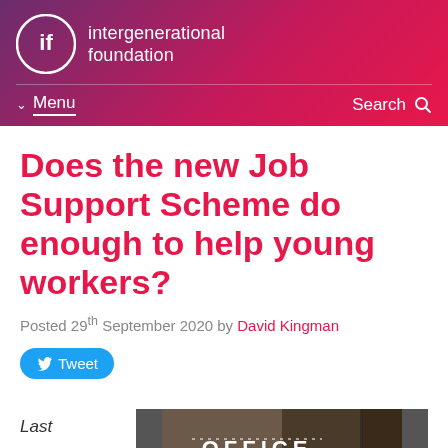intergenerational foundation
Does the new Job Support Scheme do enough to help young workers?
Posted 29th September 2020 by David Kingman
Tweet
Last
[Figure (photo): Photo of an Office sign on a building window]